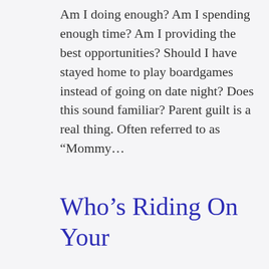Am I doing enough? Am I spending enough time? Am I providing the best opportunities? Should I have stayed home to play boardgames instead of going on date night? Does this sound familiar? Parent guilt is a real thing. Often referred to as “Mommy…
Who’s Riding On Your